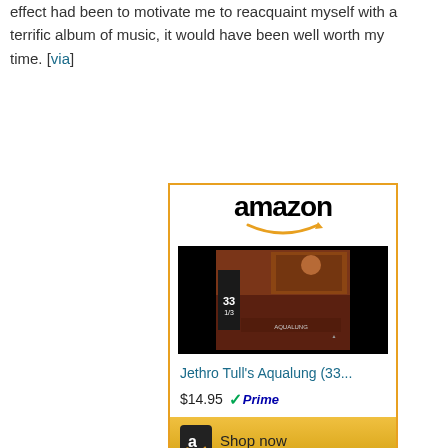effect had been to motivate me to reacquaint myself with a terrific album of music, it would have been well worth my time. [via]
[Figure (other): Amazon product widget showing 'Jethro Tull's Aqualung (33...' book for $14.95 with Prime badge and Shop now button.]